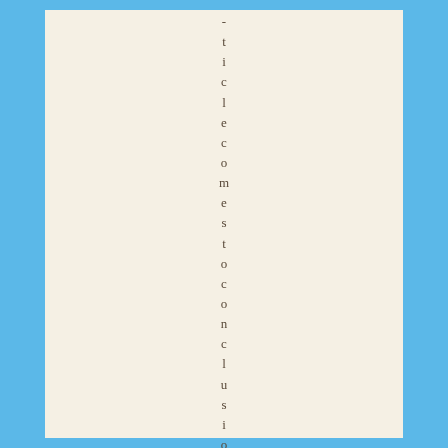-ticle comes to conclusion that at